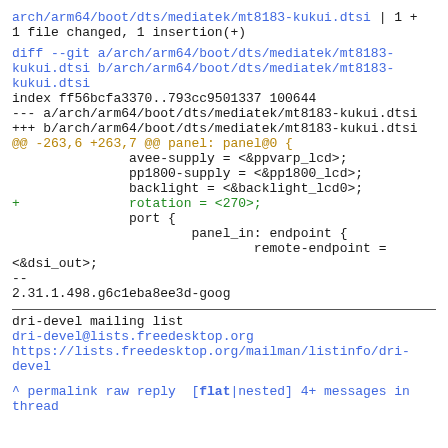arch/arm64/boot/dts/mediatek/mt8183-kukui.dtsi | 1 +
1 file changed, 1 insertion(+)
diff --git a/arch/arm64/boot/dts/mediatek/mt8183-kukui.dtsi b/arch/arm64/boot/dts/mediatek/mt8183-kukui.dtsi
index ff56bcfa3370..793cc9501337 100644
--- a/arch/arm64/boot/dts/mediatek/mt8183-kukui.dtsi
+++ b/arch/arm64/boot/dts/mediatek/mt8183-kukui.dtsi
@@ -263,6 +263,7 @@ panel: panel@0 {
                avee-supply = <&ppvarp_lcd>;
                pp1800-supply = <&pp1800_lcd>;
                backlight = <&backlight_lcd0>;
+               rotation = <270>;
                port {
                        panel_in: endpoint {
                                remote-endpoint =
<&dsi_out>;
--
2.31.1.498.g6c1eba8ee3d-goog
dri-devel mailing list
dri-devel@lists.freedesktop.org
https://lists.freedesktop.org/mailman/listinfo/dri-devel
^ permalink raw reply  [flat|nested] 4+ messages in thread